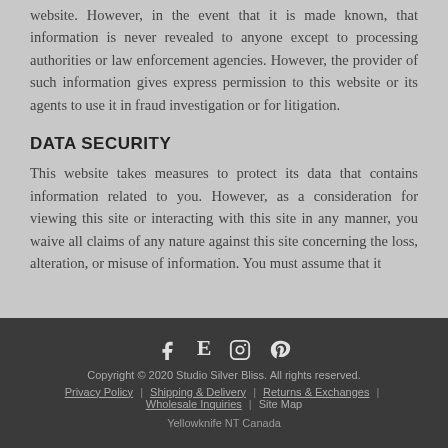website. However, in the event that it is made known, that information is never revealed to anyone except to processing authorities or law enforcement agencies. However, the provider of such information gives express permission to this website or its agents to use it in fraud investigation or for litigation.
DATA SECURITY
This website takes measures to protect its data that contains information related to you. However, as a consideration for viewing this site or interacting with this site in any manner, you waive all claims of any nature against this site concerning the loss, alteration, or misuse of information. You must assume that it
Copyright © 2020 Studio Silver Bliss. All rights reserved.
Privacy Policy | Shipping & Delivery | Returns & Exchanges | Wholesale Inquiries | Site Map
Yellowknife NT Canada